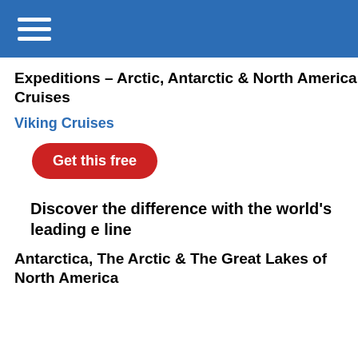Expeditions – Arctic, Antarctic & North America Cruises
Viking Cruises
Get this free
Discover the difference with the world's leading e line
Antarctica, The Arctic & The Great Lakes of North America